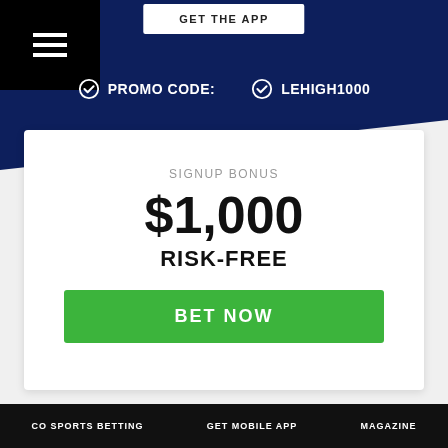GET THE APP
PROMO CODE:  LEHIGH1000
SIGNUP BONUS
$1,000
RISK-FREE
BET NOW
CO SPORTS BETTING   GET MOBILE APP   MAGAZINE